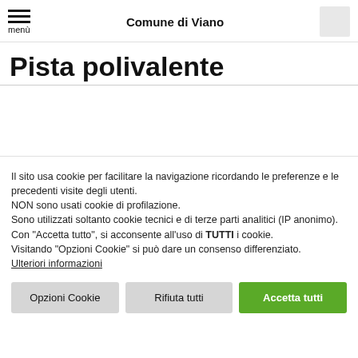Comune di Viano
Pista polivalente
Il sito usa cookie per facilitare la navigazione ricordando le preferenze e le precedenti visite degli utenti.
NON sono usati cookie di profilazione.
Sono utilizzati soltanto cookie tecnici e di terze parti analitici (IP anonimo).
Con "Accetta tutto", si acconsente all'uso di TUTTI i cookie.
Visitando "Opzioni Cookie" si può dare un consenso differenziato.
Ulteriori informazioni